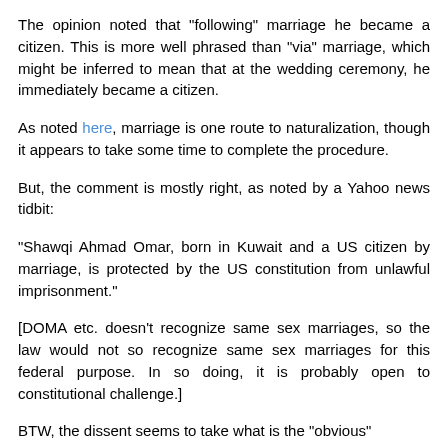The opinion noted that "following" marriage he became a citizen. This is more well phrased than "via" marriage, which might be inferred to mean that at the wedding ceremony, he immediately became a citizen.
As noted here, marriage is one route to naturalization, though it appears to take some time to complete the procedure.
But, the comment is mostly right, as noted by a Yahoo news tidbit:
"Shawqi Ahmad Omar, born in Kuwait and a US citizen by marriage, is protected by the US constitution from unlawful imprisonment."
[DOMA etc. doesn't recognize same sex marriages, so the law would not so recognize same sex marriages for this federal purpose. In so doing, it is probably open to constitutional challenge.]
BTW, the dissent seems to take what is the "obvious"